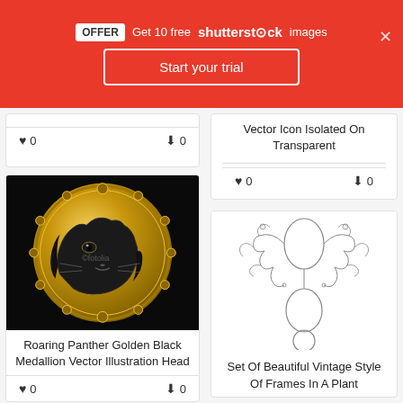OFFER  Get 10 free shutterstock images
Start your trial
[Figure (screenshot): Partial card showing heart icon 0 and download icon 0]
[Figure (illustration): Roaring Panther Golden Black Medallion Vector Illustration Head on a gold circular medallion with decorative border]
Roaring Panther Golden Black Medallion Vector Illustration Head
0  0 (likes and downloads)
Vector Icon Isolated On Transparent
0  0 (likes and downloads)
[Figure (illustration): Set Of Beautiful Vintage Style Of Frames In A Plant — decorative floral vintage frames outline illustration]
Set Of Beautiful Vintage Style Of Frames In A Plant